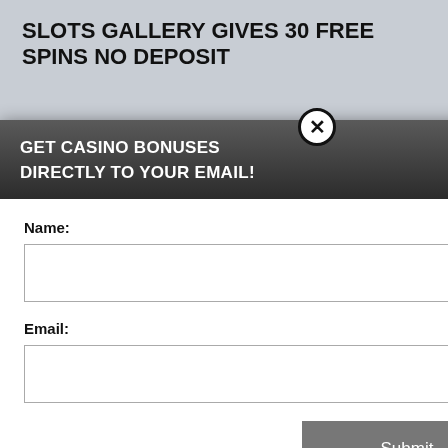SLOTS GALLERY GIVES 30 FREE SPINS NO DEPOSIT
usive 30 free spins no registration to all new count with our links and use
30 bonus spins no deposit bonus code FRUIT30
perience, we use Using this site, kie & privacy policy. Brazil, India,
more
ast
country
apply. Play responsibly. 18+
[Figure (screenshot): Email subscription modal popup with dark header saying 'GET CASINO BONUSES DIRECTLY TO YOUR EMAIL!', Name and Email input fields, a Submit button, and a footer note about Privacy and Cookie policy. A close button (X) appears at top right of modal.]
By subscribing you are certifying that you have reviewed and accepted our updated Privacy and Cookie policy.